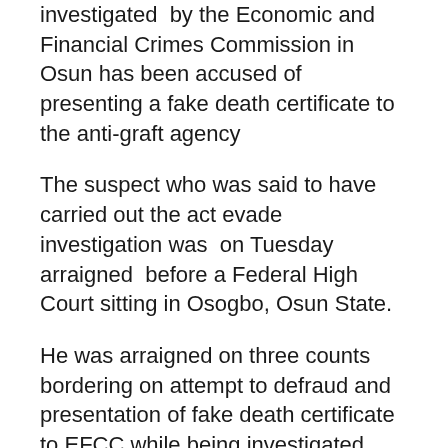investigated  by the Economic and Financial Crimes Commission in Osun has been accused of presenting a fake death certificate to the anti-graft agency
The suspect who was said to have carried out the act evade investigation was  on Tuesday arraigned  before a Federal High Court sitting in Osogbo, Osun State.
He was arraigned on three counts bordering on attempt to defraud and presentation of fake death certificate to EFCC while being investigated.
The prosecutor, Usman Muritala, while addressing the court, explained that the defendant through one Felix Iyekute presented fake death certificate to the